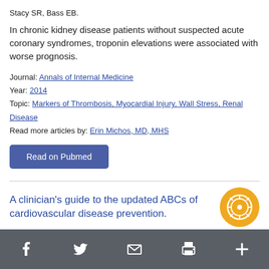Stacy SR, Bass EB.
In chronic kidney disease patients without suspected acute coronary syndromes, troponin elevations were associated with worse prognosis.
Journal: Annals of Internal Medicine
Year: 2014
Topic: Markers of Thrombosis, Myocardial Injury, Wall Stress, Renal Disease
Read more articles by: Erin Michos, MD, MHS
Read on Pubmed
A clinician's guide to the updated ABCs of cardiovascular disease prevention.
[Figure (other): Award/medal badge icon in orange circle]
[Figure (other): Social sharing footer bar with icons for Facebook, Twitter, Email, Print, and More (+)]